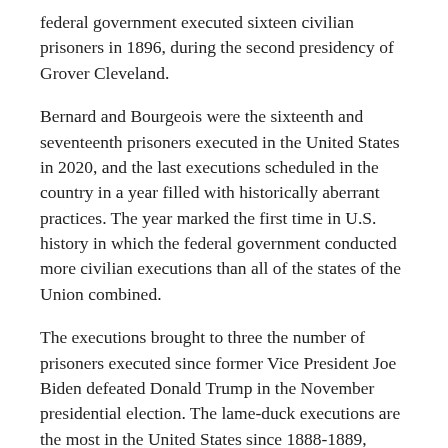federal government executed sixteen civilian prisoners in 1896, during the second presidency of Grover Cleveland.
Bernard and Bourgeois were the sixteenth and seventeenth prisoners executed in the United States in 2020, and the last executions scheduled in the country in a year filled with historically aberrant practices. The year marked the first time in U.S. history in which the federal government conducted more civilian executions than all of the states of the Union combined.
The executions brought to three the number of prisoners executed since former Vice President Joe Biden defeated Donald Trump in the November presidential election. The lame-duck executions are the most in the United States since 1888-1889, when three executions were conducted during the transition between the first presidency of Grover Cleveland and the presidency of Benjamin Harrison. The most executions during any transition period is five, in